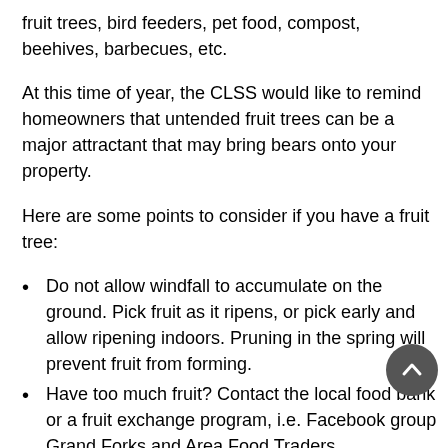fruit trees, bird feeders, pet food, compost, beehives, barbecues, etc.
At this time of year, the CLSS would like to remind homeowners that untended fruit trees can be a major attractant that may bring bears onto your property.
Here are some points to consider if you have a fruit tree:
Do not allow windfall to accumulate on the ground. Pick fruit as it ripens, or pick early and allow ripening indoors. Pruning in the spring will prevent fruit from forming.
Have too much fruit? Contact the local food bank or a fruit exchange program, i.e. Facebook group Grand Forks and Area Food Traders.
Protect your tree with electric fencing.
If you are unable to manage your fruit tree, consider